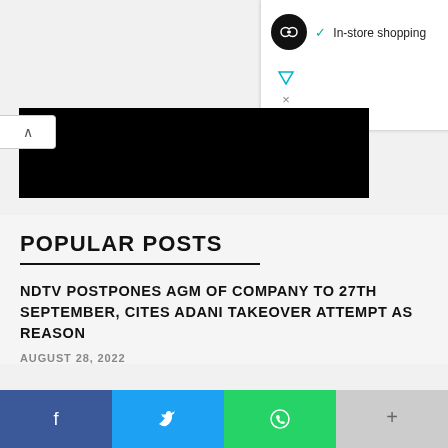[Figure (screenshot): Ad panel with logo icon and 'In-store shopping' text with checkmark]
[Figure (photo): Black redacted image block]
POPULAR POSTS
NDTV POSTPONES AGM OF COMPANY TO 27TH SEPTEMBER, CITES ADANI TAKEOVER ATTEMPT AS REASON
AUGUST 28, 2022
[Figure (infographic): Social share bar with Facebook, Twitter, WhatsApp, and More buttons]